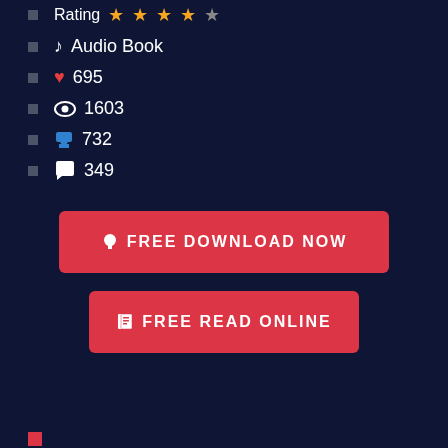Rating ★★★★☆
♪ Audio Book
❤ 695
👁 1603
⬇ 732
💬 349
[Figure (other): Red button labeled FREE DOWNLOAD NOW with download icon]
[Figure (other): Red button labeled FREE READ ONLINE with book icon]